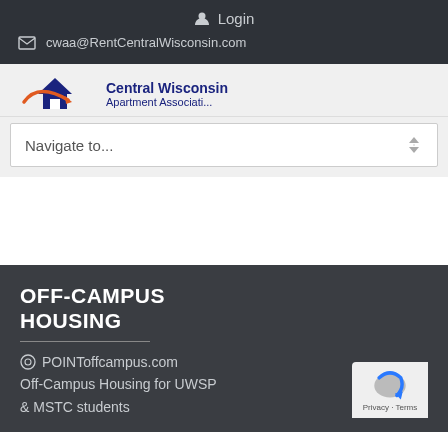Login
cwaa@RentCentralWisconsin.com
[Figure (logo): Central Wisconsin Apartment Association logo with house icon]
Navigate to...
OFF-CAMPUS HOUSING
POINToffcampus.com
Off-Campus Housing for UWSP & MSTC students